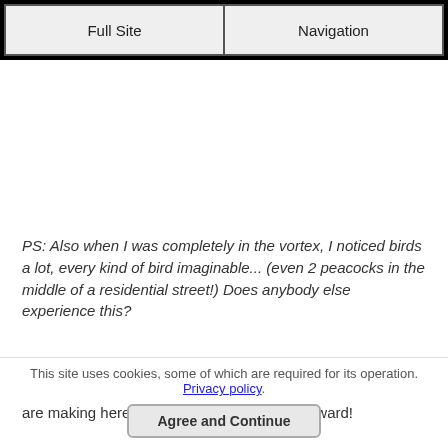Full Site | Navigation
PS: Also when I was completely in the vortex, I noticed birds a lot, every kind of bird imaginable... (even 2 peacocks in the middle of a residential street!) Does anybody else experience this?
Real Life LoA Answer: Ah, excellent, excellent point you are making here, thank you for bringing it forward!
It makes perfect sense that you were so thoroughly in the vortex while you were unemployed and that it is much harder to get back into the
This site uses cookies, some of which are required for its operation. Privacy policy.
Agree and Continue